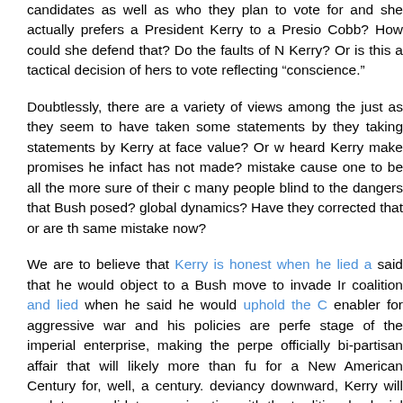candidates as well as who they plan to vote for and she actually prefers a President Kerry to a President Cobb? How could she defend that? Do the faults of Kerry? Or is this a tactical decision of hers to vote reflecting "conscience."
Doubtlessly, there are a variety of views among the just as they seem to have taken some statements by they taking statements by Kerry at face value? Or w heard Kerry make promises he infact has not made? mistake cause one to be all the more sure of their c many people blind to the dangers that Bush posed? global dynamics? Have they corrected that or are th same mistake now?
We are to believe that Kerry is honest when he lied a said that he would object to a Bush move to invade Ir coalition and lied when he said he would uphold the C enabler for aggressive war and his policies are perfe stage of the imperial enterprise, making the perpe officially bi-partisan affair that will likely more than fu for a New American Century for, well, a century. deviancy downward, Kerry will work to consolidate e conjunction with the traditional colonial powers and countries.
This is not to say there is no difference between Bus